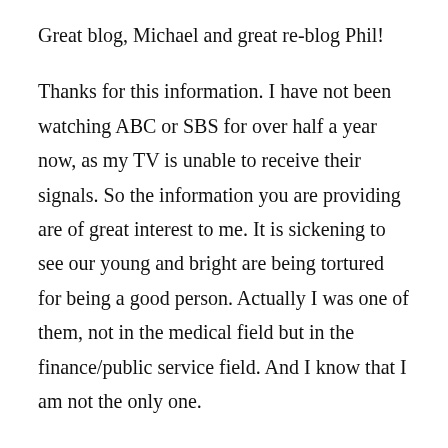Great blog, Michael and great re-blog Phil!
Thanks for this information. I have not been watching ABC or SBS for over half a year now, as my TV is unable to receive their signals. So the information you are providing are of great interest to me. It is sickening to see our young and bright are being tortured for being a good person. Actually I was one of them, not in the medical field but in the finance/public service field. And I know that I am not the only one.
The bullying experiences at my previous workplace